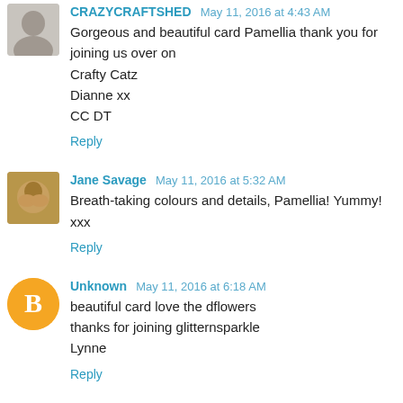CRAZYCRAFTSHED May 11, 2016 at 4:43 AM
Gorgeous and beautiful card Pamellia thank you for joining us over on
Crafty Catz
Dianne xx
CC DT
Reply
Jane Savage May 11, 2016 at 5:32 AM
Breath-taking colours and details, Pamellia! Yummy! xxx
Reply
Unknown May 11, 2016 at 6:18 AM
beautiful card love the dflowers
thanks for joining glitternsparkle
Lynne
Reply